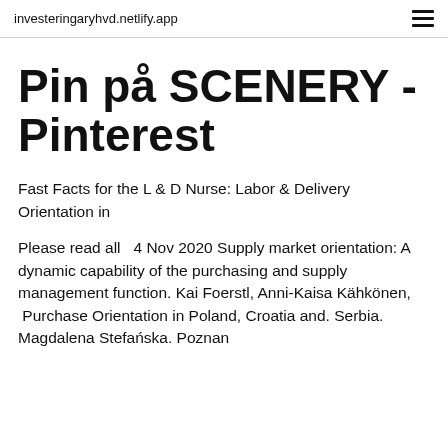investeringaryhvd.netlify.app
Pin på SCENERY - Pinterest
Fast Facts for the L & D Nurse: Labor & Delivery Orientation in
Please read all   4 Nov 2020 Supply market orientation: A dynamic capability of the purchasing and supply management function. Kai Foerstl, Anni-Kaisa Kähkönen,  Purchase Orientation in Poland, Croatia and. Serbia. Magdalena Stefańska. Poznan